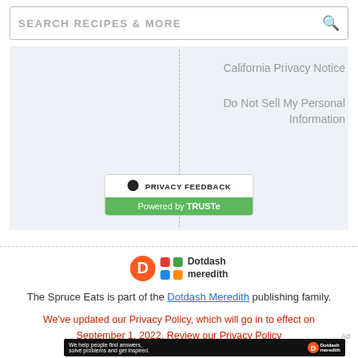[Figure (screenshot): Search bar with text SEARCH RECIPES & MORE and a magnifier icon]
California Privacy Notice
Do Not Sell My Personal Information
[Figure (logo): Privacy Feedback badge powered by TRUSTe - black top with speech bubble icon and PRIVACY FEEDBACK text, green bottom with Powered by TRUSTe]
[Figure (logo): Dotdash Meredith logo - orange D circle and colorful diamond grid icon with Dotdash meredith text]
The Spruce Eats is part of the Dotdash Meredith publishing family.
We've updated our Privacy Policy, which will go in to effect on September 1, 2022. Review our Privacy Policy
[Figure (screenshot): Ad banner: We help people find answers, solve problems and get inspired. Dotdash meredith logo on black background]